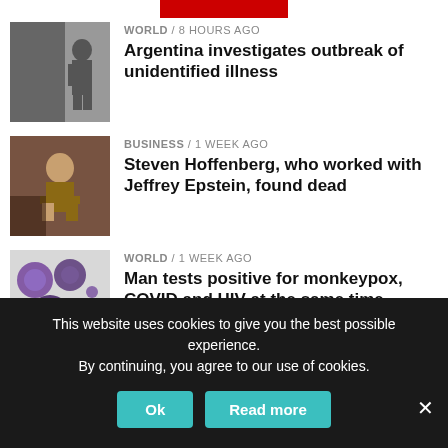[Figure (screenshot): Partial red logo/banner bar at top]
WORLD / 8 hours ago — Argentina investigates outbreak of unidentified illness
BUSINESS / 1 week ago — Steven Hoffenberg, who worked with Jeffrey Epstein, found dead
WORLD / 1 week ago — Man tests positive for monkeypox, COVID and HIV at the same time
LEGAL / 1 week ago — 1 killed in shooting at Eden Prairie Center mall in Minnesota
This website uses cookies to give you the best possible experience. By continuing, you agree to our use of cookies.